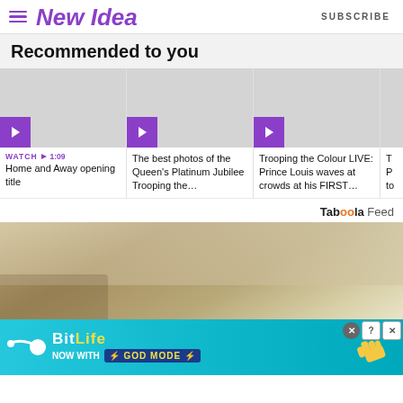New Idea — SUBSCRIBE
Recommended to you
[Figure (screenshot): Four video thumbnail cards in a horizontal row. First card: purple play button, WATCH ▶ 1:09, Home and Away opening title. Second card: purple play button, The best photos of the Queen's Platinum Jubilee Trooping the... Third card: purple play button, Trooping the Colour LIVE: Prince Louis waves at crowds at his FIRST... Fourth card: partially visible.]
Taboola Feed
[Figure (photo): A room interior photograph showing beige/tan walls and white ceiling, partially visible.]
[Figure (photo): Advertisement banner: BitLife — Now with GOD MODE, on a teal/cyan background with cartoon hand and thumbs-up graphics.]